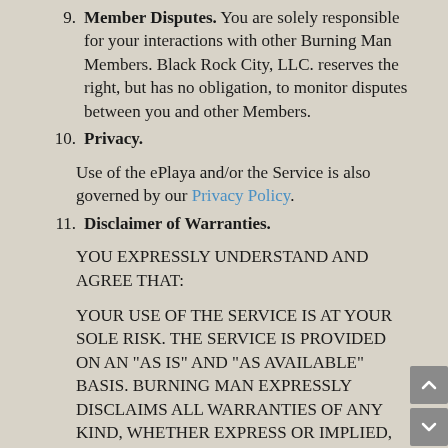9. Member Disputes. You are solely responsible for your interactions with other Burning Man Members. Black Rock City, LLC. reserves the right, but has no obligation, to monitor disputes between you and other Members.
10. Privacy.

Use of the ePlaya and/or the Service is also governed by our Privacy Policy.
11. Disclaimer of Warranties.

YOU EXPRESSLY UNDERSTAND AND AGREE THAT:

YOUR USE OF THE SERVICE IS AT YOUR SOLE RISK. THE SERVICE IS PROVIDED ON AN "AS IS" AND "AS AVAILABLE" BASIS. BURNING MAN EXPRESSLY DISCLAIMS ALL WARRANTIES OF ANY KIND, WHETHER EXPRESS OR IMPLIED, INCLUDING BUT NOT LIMITED TO THE IMPLIED WARRANTIES OF MERCHANTABILITY, FITNESS FOR A PARTICULAR PURPOSE, AND